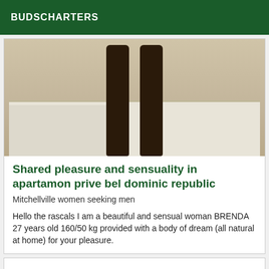BUDSCHARTERS
[Figure (photo): A person standing in front of a bed in a room, only legs visible, wearing dark stockings or tights. The bed has white/light gray sheets. The room has a light-colored wall and wooden floor.]
Shared pleasure and sensuality in apartamon prive bel dominic republic
Mitchellville women seeking men
Hello the rascals I am a beautiful and sensual woman BRENDA 27 years old 160/50 kg provided with a body of dream (all natural at home) for your pleasure.